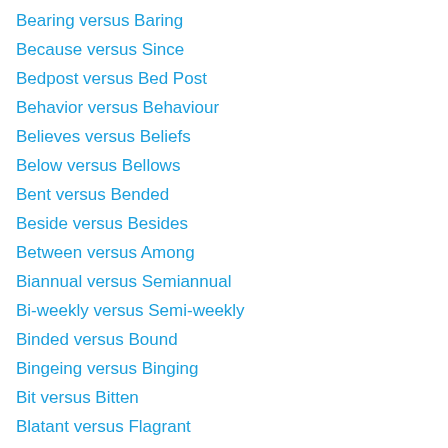Bearing versus Baring
Because versus Since
Bedpost versus Bed Post
Behavior versus Behaviour
Believes versus Beliefs
Below versus Bellows
Bent versus Bended
Beside versus Besides
Between versus Among
Biannual versus Semiannual
Bi-weekly versus Semi-weekly
Binded versus Bound
Bingeing versus Binging
Bit versus Bitten
Blatant versus Flagrant